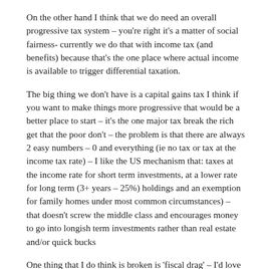On the other hand I think that we do need an overall progressive tax system – you're right it's a matter of social fairness- currently we do that with income tax (and benefits) because that's the one place where actual income is available to trigger differential taxation.
The big thing we don't have is a capital gains tax I think if you want to make things more progressive that would be a better place to start – it's the one major tax break the rich get that the poor don't – the problem is that there are always 2 easy numbers – 0 and everything (ie no tax or tax at the income tax rate) – I like the US mechanism that: taxes at the income rate for short term investments, at a lower rate for long term (3+ years – 25%) holdings and an exemption for family homes under most common circumstances) – that doesn't screw the middle class and encourages money to go into longish term investments rather than real estate and/or quick bucks
One thing that I do think is broken is 'fiscal drag' – I'd love to see a law that automatically pegs the